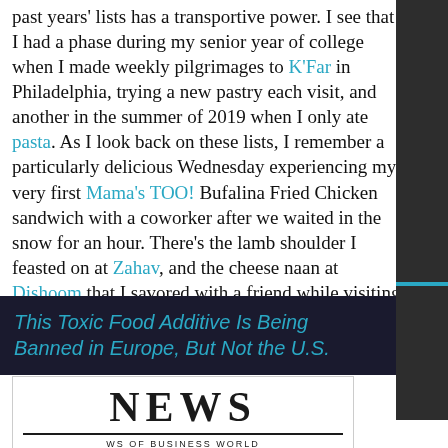past years' lists has a transportive power. I see that I had a phase during my senior year of college when I made weekly pilgrimages to K'Far in Philadelphia, trying a new pastry each visit, and another in the summer of 2019 when I only ate pasta. As I look back on these lists, I remember a particularly delicious Wednesday experiencing my very first Mama's TOO! Bufalina Fried Chicken sandwich with a coworker after we waited in the snow for an hour. There's the lamb shoulder I feasted on at Zahav, and the cheese naan at Dishoom that I savored with a friend while visiting London, a snapshot of my life just one day before COVID-19 officially became a pandemic.
This Toxic Food Additive Is Being Banned in Europe, But Not the U.S.
[Figure (photo): News of Business World logo/masthead image showing 'NEWS' in large serif font and 'WS OF BUSINESS WORLD' below]